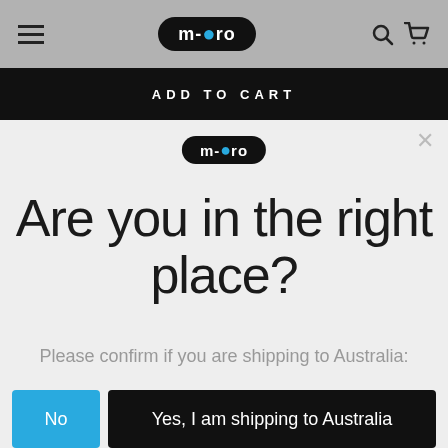m-cro (logo navigation bar with hamburger menu, search and cart icons)
ADD TO CART
[Figure (logo): Micro scooters logo — black oval with white text 'm-cro' and blue dot]
Are you in the right place?
Please confirm if you are shipping to Australia:
No   Yes, I am shipping to Australia